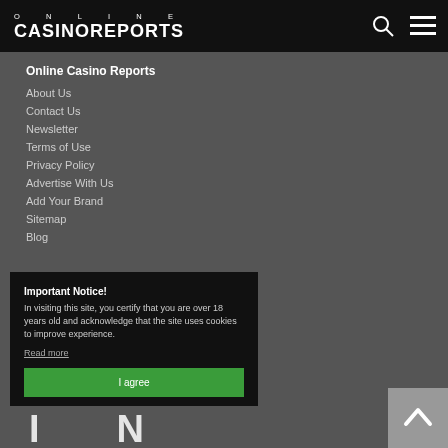ONLINE CASINOREPORTS
Online Casino Reports
About Us
Contact Us
Newsletter
Terms of Use
Privacy Policy
Advertise With Us
Add Your Brand
Sitemap
Blog
Important Notice! In visiting this site, you certify that you are over 18 years old and acknowledge that the site uses cookies to improve experience. Read more
I agree